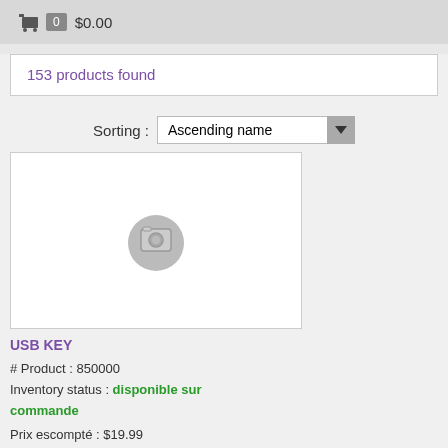🛒 0 $0.00
153 products found
Sorting : Ascending name
[Figure (illustration): Placeholder product image with camera icon]
USB KEY
# Product : 850000
Inventory status : disponible sur commande
Prix escompté : $19.99
1